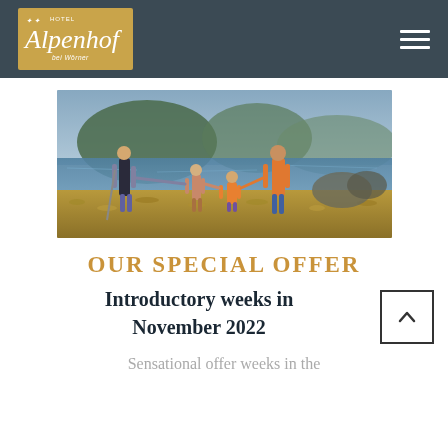Hotel Alpenhof
[Figure (photo): Family of four (two adults and two children) walking hand-in-hand along a rocky lakeshore with mountains in the background.]
OUR SPECIAL OFFER
Introductory weeks in November 2022
Sensational offer weeks in the